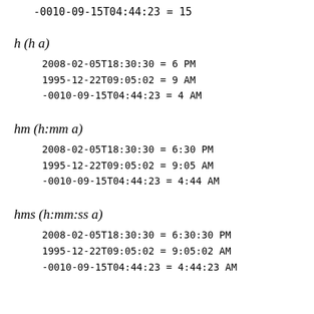-0010-09-15T04:44:23 = 15
h (h a)
2008-02-05T18:30:30 = 6 PM
1995-12-22T09:05:02 = 9 AM
-0010-09-15T04:44:23 = 4 AM
hm (h:mm a)
2008-02-05T18:30:30 = 6:30 PM
1995-12-22T09:05:02 = 9:05 AM
-0010-09-15T04:44:23 = 4:44 AM
hms (h:mm:ss a)
2008-02-05T18:30:30 = 6:30:30 PM
1995-12-22T09:05:02 = 9:05:02 AM
-0010-09-15T04:44:23 = 4:44:23 AM